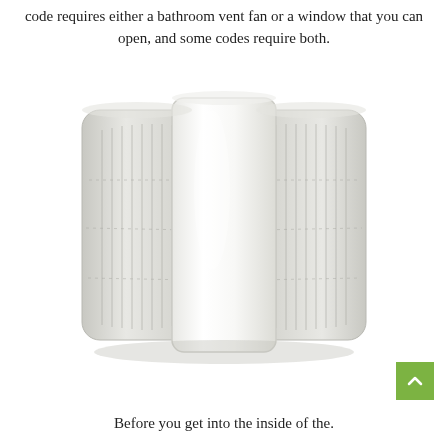code requires either a bathroom vent fan or a window that you can open, and some codes require both.
[Figure (photo): A white bathroom vent fan with a central frosted light cover flanked by louvered grille panels on each side.]
Before you get into the inside of the.